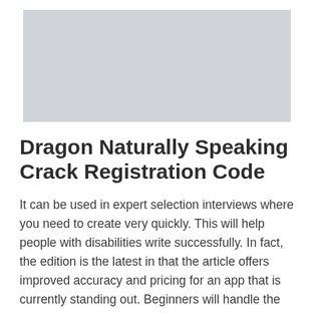[Figure (other): Gray placeholder image area at the top of the page]
Dragon Naturally Speaking Crack Registration Code
It can be used in expert selection interviews where you need to create very quickly. This will help people with disabilities write successfully. In fact, the edition is the latest in that the article offers improved accuracy and pricing for an app that is currently standing out. Beginners will handle the PC with a tone of voice. Helps facilitate fast and accurate transcription for almost any text entry application. Dragon Naturally Speaking Full Crack helps reduce keyboard and mouse button usage for giving